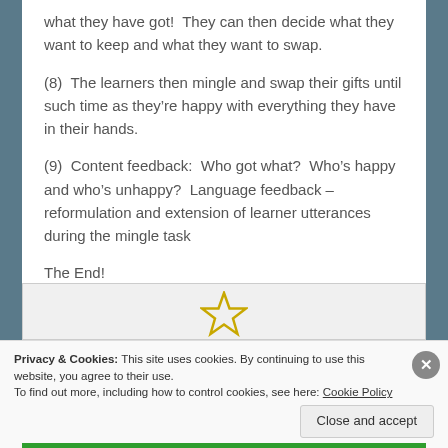what they have got!  They can then decide what they want to keep and what they want to swap.
(8)  The learners then mingle and swap their gifts until such time as they’re happy with everything they have in their hands.
(9)  Content feedback:  Who got what?  Who’s happy and who’s unhappy?  Language feedback – reformulation and extension of learner utterances during the mingle task
The End!
[Figure (illustration): Gold star icon centered in a light gray box]
Privacy & Cookies: This site uses cookies. By continuing to use this website, you agree to their use.
To find out more, including how to control cookies, see here: Cookie Policy